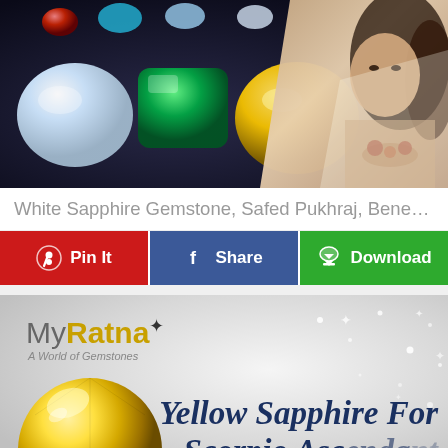[Figure (photo): Collage showing various colorful gemstones (diamond, emerald, yellow topaz, red ruby etc.) on dark background on the left, and a woman in Indian attire on the right]
White Sapphire Gemstone, Safed Pukhraj, Benefits of ...
[Figure (infographic): Three social sharing buttons: Pin It (red/Pinterest), Share (blue/Facebook), Download (green with cloud icon)]
[Figure (photo): MyRatna gemstone brand advertisement showing a large yellow sapphire gemstone on bottom left and text 'Yellow Sapphire For Scorpio Ascendant' on a grey/silver sparkle background with MyRatna logo top left]